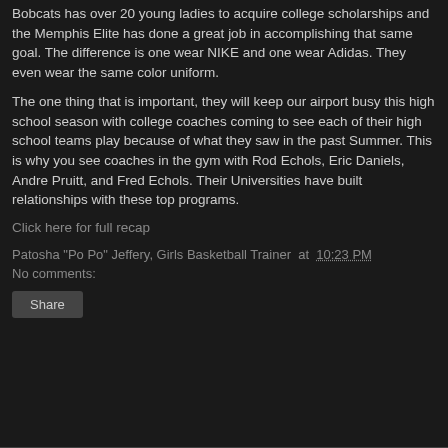Bobcats has over 20 young ladies to acquire college scholarships and the Memphis Elite has done a great job in accomplishing that same goal. The difference is one wear NIKE and one wear Adidas. They even wear the same color uniform.
The one thing that is important, they will keep our airport busy this high school season with college coaches coming to see each of their high school teams play because of what they saw in the past Summer. This is why you see coaches in the gym with Rod Echols, Eric Daniels, Andre Pruitt, and Fred Echols. Their Universities have built relationships with these top programs.
Click here for full recap
Patosha "Po Po" Jeffery, Girls Basketball Trainer at 10:23 PM
No comments:
Share